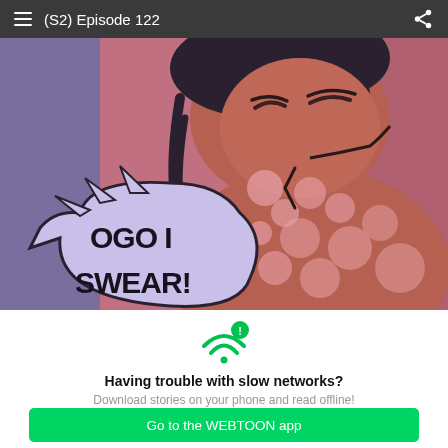(S2) Episode 122
[Figure (illustration): Webtoon comic panel showing a character with dark hair, flushed/reddened skin with pink spots, mouth open, with a speech bubble saying 'OGO I SWEAR!' against a purple/mauve background.]
[Figure (infographic): WiFi signal icon with an exclamation mark badge in green, indicating slow network warning.]
Having trouble with slow networks?
Download stories on your phone and read offline!
Go to the WEBTOON app